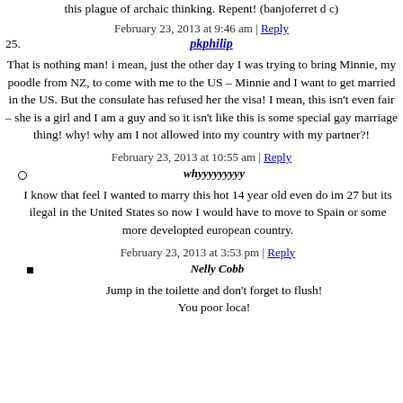this plague of archaic thinking. Repent! (banjoferret d c)
February 23, 2013 at 9:46 am | Reply
25. pkphilip
That is nothing man! i mean, just the other day I was trying to bring Minnie, my poodle from NZ, to come with me to the US – Minnie and I want to get married in the US. But the consulate has refused her the visa! I mean, this isn't even fair – she is a girl and I am a guy and so it isn't like this is some special gay marriage thing! why! why am I not allowed into my country with my partner?!
February 23, 2013 at 10:55 am | Reply
whyyyyyyyyy
I know that feel I wanted to marry this hot 14 year old even do im 27 but its ilegal in the United States so now I would have to move to Spain or some more developted european country.
February 23, 2013 at 3:53 pm | Reply
Nelly Cobb
Jump in the toilette and don't forget to flush! You poor loca!